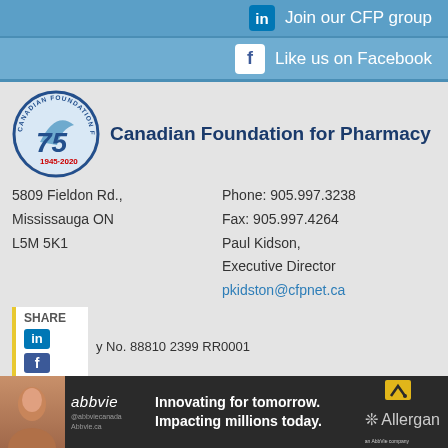Join our CFP group
Like us on Facebook
Canadian Foundation for Pharmacy
5809 Fieldon Rd.,
Mississauga ON
L5M 5K1
Phone: 905.997.3238
Fax: 905.997.4264
Paul Kidson,
Executive Director
pkidston@cfpnet.ca
SHARE
y No. 88810 2399 RR0001
[Figure (infographic): AbbVie advertisement banner: person photo, AbbVie logo with @abbviecanada Abbvie.ca, tagline Innovating for tomorrow. Impacting millions today., Allergan logo]